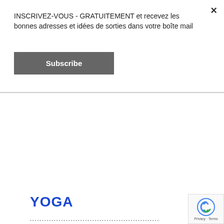INSCRIVEZ-VOUS - GRATUITEMENT et recevez les bonnes adresses et idées de sorties dans votre boîte mail
Subscribe
YOGA
••••••••••••••••••••••••••••••••••••••••••••••••••••••
[Figure (photo): Group of people lying on their backs on a gym floor in a relaxation yoga pose, with a blue wall and exercise ball in background]
Privacy · Terms